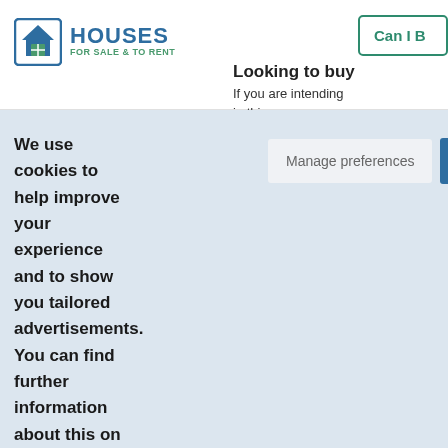[Figure (logo): Houses For Sale & To Rent logo with house icon in blue and green]
Can I B
Looking to buy
If you are intending in this area.
We use cookies to help improve your experience and to show you tailored advertisements. You can find further information about this on our Cookie Policy.
Manage preferences
Accept All